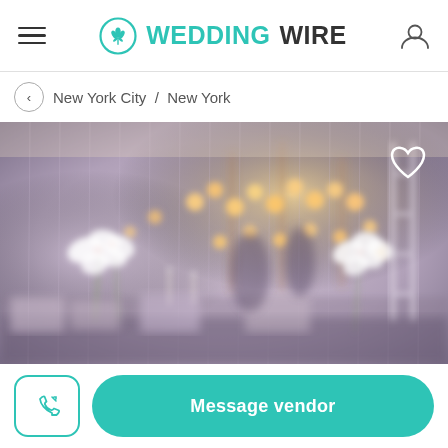WEDDINGWIRE
New York City / New York
[Figure (photo): Wedding venue interior with soft lighting, white drapes, floral arrangements with white orchids, warm Edison bulb light displays, and elegant table settings in a blurred bokeh style.]
Message vendor